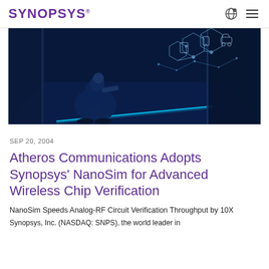SYNOPSYS
[Figure (photo): A person crouching in a data center corridor with glowing blue floor lights, surrounded by server racks and overlaid with digital network connectivity icons and hexagonal shapes in blue tones.]
SEP 20, 2004
Atheros Communications Adopts Synopsys' NanoSim for Advanced Wireless Chip Verification
NanoSim Speeds Analog-RF Circuit Verification Throughput by 10X
Synopsys, Inc. (NASDAQ: SNPS), the world leader in